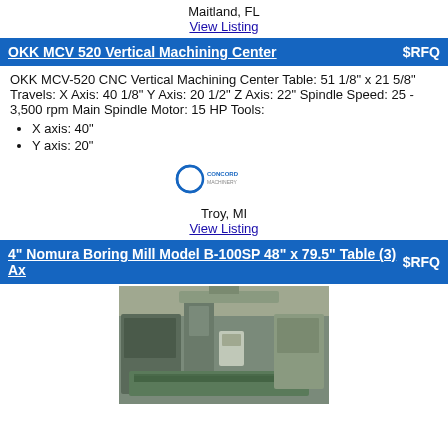Maitland, FL
View Listing
OKK MCV 520 Vertical Machining Center   $RFQ
OKK MCV-520 CNC Vertical Machining Center Table: 51 1/8" x 21 5/8" Travels: X Axis: 40 1/8" Y Axis: 20 1/2" Z Axis: 22" Spindle Speed: 25 - 3,500 rpm Main Spindle Motor: 15 HP Tools:
X axis: 40"
Y axis: 20"
[Figure (logo): Concord Machinery logo — circular C with text]
Troy, MI
View Listing
4" Nomura Boring Mill Model B-100SP 48" x 79.5" Table (3) Ax   $RFQ
[Figure (photo): Photo of a large boring mill machine in an industrial facility, showing the machine bed and table]